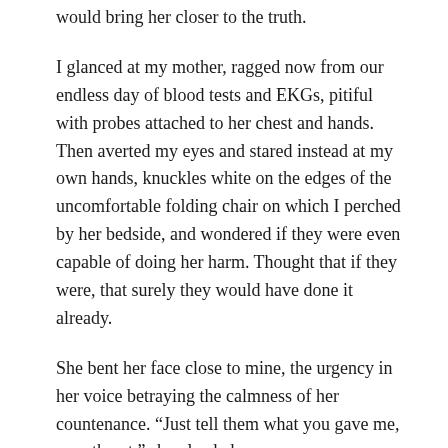would bring her closer to the truth.
I glanced at my mother, ragged now from our endless day of blood tests and EKGs, pitiful with probes attached to her chest and hands. Then averted my eyes and stared instead at my own hands, knuckles white on the edges of the uncomfortable folding chair on which I perched by her bedside, and wondered if they were even capable of doing her harm. Thought that if they were, that surely they would have done it already.
She bent her face close to mine, the urgency in her voice betraying the calmness of her countenance. “Just tell them what you gave me, sweetheart,” she pleaded.
Her breath stunk of metal fillings and stale cigarettes, and I backed involuntarily away. Hasty and harrowed, to her my retreat conveyed confession and it prodded her on, encouraged her investigation.